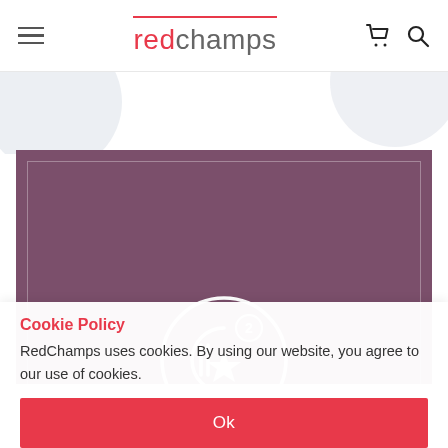redchamps (navigation header with hamburger menu, cart icon, and search icon)
[Figure (screenshot): Purple/mauve banner with inner white border outline and a partially visible circular logo/badge icon (white circle with stylized 'C2' / star medal design) centered at the bottom of the banner area.]
Cookie Policy
RedChamps uses cookies. By using our website, you agree to our use of cookies.
Ok